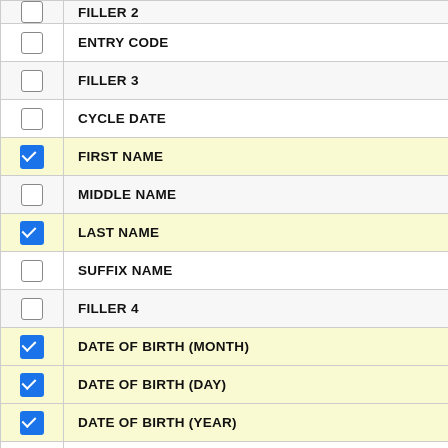|  | Field Name |
| --- | --- |
| ☐ | FILLER 2 |
| ☐ | ENTRY CODE |
| ☐ | FILLER 3 |
| ☐ | CYCLE DATE |
| ☑ | FIRST NAME |
| ☐ | MIDDLE NAME |
| ☑ | LAST NAME |
| ☐ | SUFFIX NAME |
| ☐ | FILLER 4 |
| ☑ | DATE OF BIRTH (MONTH) |
| ☑ | DATE OF BIRTH (DAY) |
| ☑ | DATE OF BIRTH (YEAR) |
| ☐ | SEX |
| ☐ | FILLER 5 |